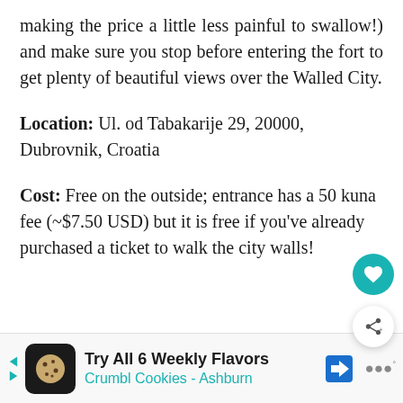making the price a little less painful to swallow!) and make sure you stop before entering the fort to get plenty of beautiful views over the Walled City.
Location: Ul. od Tabakarije 29, 20000, Dubrovnik, Croatia
Cost: Free on the outside; entrance has a 50 kuna fee (~$7.50 USD) but it is free if you've already purchased a ticket to walk the city walls!
[Figure (other): Advertisement banner: Crumbl Cookies - Ashburn. Try All 6 Weekly Flavors.]